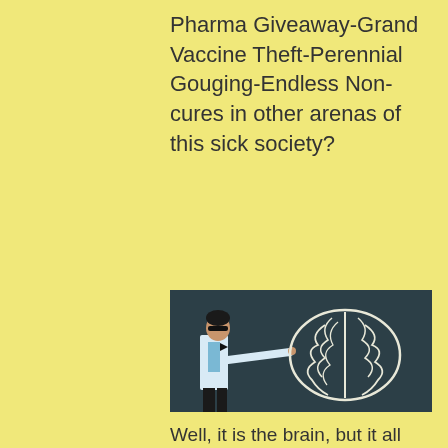Pharma Giveaway-Grand Vaccine Theft-Perennial Gouging-Endless Non-cures in other arenas of this sick society?
[Figure (photo): A man in a white lab coat and bow tie, wearing sunglasses, pointing at a chalk drawing of a brain on a dark chalkboard.]
Well, it is the brain, but it all starts in the gut. You know that, the Madmen sell that, and the MDs and scientists have tested that. But simple rules